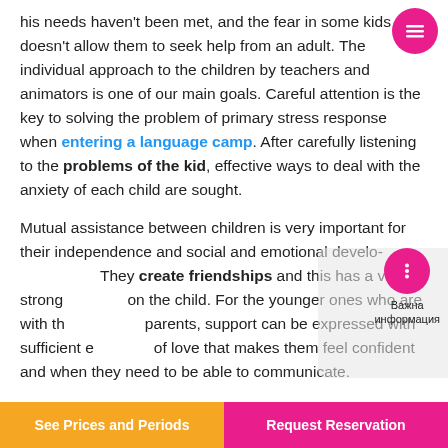his needs haven't been met, and the fear in some kids doesn't allow them to seek help from an adult. The individual approach to the children by teachers and animators is one of our main goals. Careful attention is the key to solving the problem of primary stress response when entering a language camp. After carefully listening to the problems of the kid, effective ways to deal with the anxiety of each child are sought.
Mutual assistance between children is very important for their independence and social and emotional development. They create friendships and this has a very strong effect on the child. For the younger ones who are with their parents, support can be expressed with sufficient expressions of love that makes them feel confident and when they need to be able to communicate.
See Prices and Periods | Request Reservation